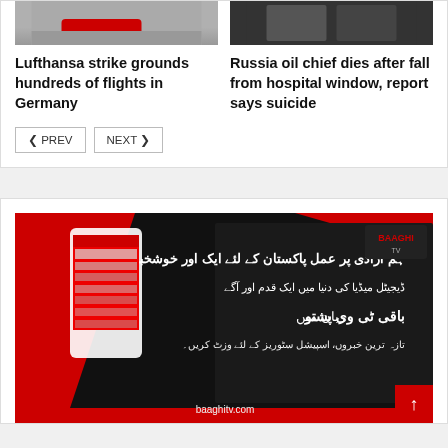[Figure (photo): Top portion of two news article images — left shows a car on a road, right shows two people in dark suits]
Lufthansa strike grounds hundreds of flights in Germany
Russia oil chief dies after fall from hospital window, report says suicide
PREV  NEXT
[Figure (photo): Advertisement banner for baaghitv.com — black and red background with Urdu text and images of a news website displayed on a phone and tablet. baaghitv.com logo visible. Urdu text about digital media. Red and black geometric design.]